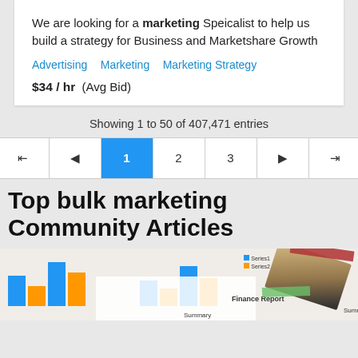We are looking for a marketing Speicalist to help us build a strategy for Business and Marketshare Growth
Advertising   Marketing   Marketing Strategy
$34 / hr  (Avg Bid)
Showing 1 to 50 of 407,471 entries
| |◄ | ◄ | 1 | 2 | 3 | ► | ►| |
| --- | --- | --- | --- | --- | --- | --- |
Top bulk marketing Community Articles
[Figure (photo): Photo of a finance report with colored bar charts and a pen/pencil resting on documents]